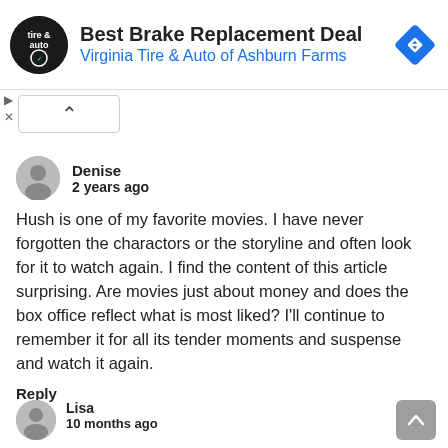[Figure (screenshot): Ad banner for Virginia Tire & Auto of Ashburn Farms with logo, title 'Best Brake Replacement Deal', and a blue navigation arrow diamond icon]
Denise
2 years ago
Hush is one of my favorite movies. I have never forgotten the charactors or the storyline and often look for it to watch again. I find the content of this article surprising. Are movies just about money and does the box office reflect what is most liked? I'll continue to remember it for all its tender moments and suspense and watch it again.
Reply
Lisa
10 months ago